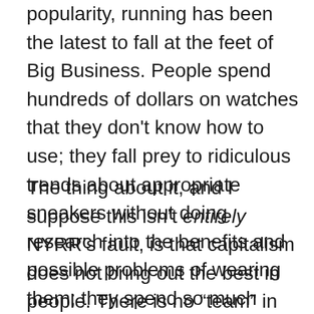popularity, running has been the latest to fall at the feet of Big Business.  People spend hundreds of dollars on watches that they don't know how to use; they fall prey to ridiculous trends about appropriate sneakers without doing research into the benefits and possible problems of wearing them; they spend so much money on races just because the bib pick-up involves a “pre-party” AKA some lame music playing in the background and a bunch of companies hawking their wares.
The thing about it, and I suppose this isn’t entirely NYRR’s fault, is that capitalism does not bring out the best in people.  There is no “team” in capitalism.  It is every woman, man and child to her/himself.  Capitalism, to me, is largely what our national obsession with individualism is born from.  The attitude that goes along with people needing to have the newest gadgets, the nicest clothes,